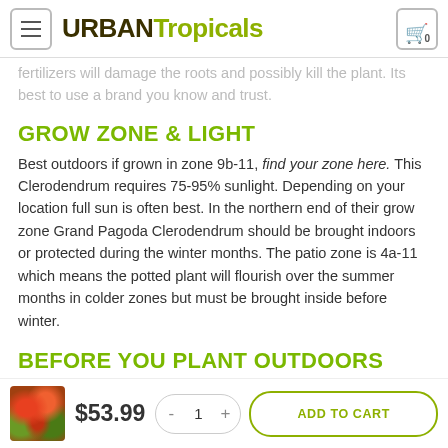Urban Tropicals – navigation header with logo and cart
fertilizers will damage the roots and possibly kill the plant. Its best to use a brand you know and trust.
GROW ZONE & LIGHT
Best outdoors if grown in zone 9b-11, find your zone here. This Clerodendrum requires 75-95% sunlight. Depending on your location full sun is often best. In the northern end of their grow zone Grand Pagoda Clerodendrum should be brought indoors or protected during the winter months. The patio zone is 4a-11 which means the potted plant will flourish over the summer months in colder zones but must be brought inside before winter.
BEFORE YOU PLANT OUTDOORS
At the nursery these Clerodendrum are grown under 20-40% shade...
$53.99 – ADD TO CART